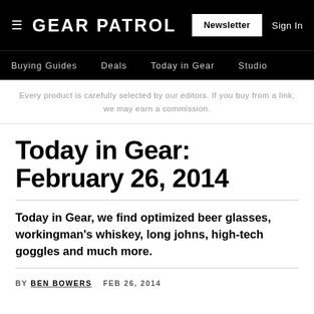GEAR PATROL  Newsletter  Sign In
Buying Guides  Deals  Today in Gear  Studio
Every product is carefully selected by our editors. If you buy from a link, we may earn a commission.
Today in Gear: February 26, 2014
Today in Gear, we find optimized beer glasses, workingman's whiskey, long johns, high-tech goggles and much more.
BY BEN BOWERS  FEB 26, 2014